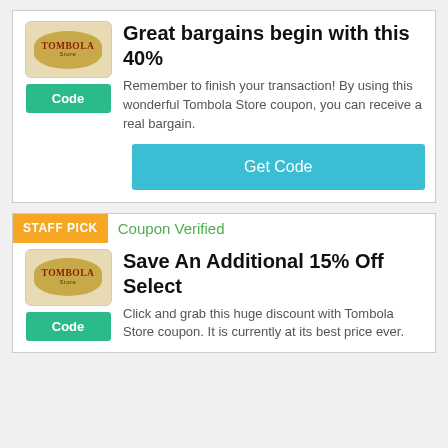Great bargains begin with this 40%
Remember to finish your transaction! By using this wonderful Tombola Store coupon, you can receive a real bargain.
Get Code
STAFF PICK
Coupon Verified
Save An Additional 15% Off Select
Click and grab this huge discount with Tombola Store coupon. It is currently at its best price ever.